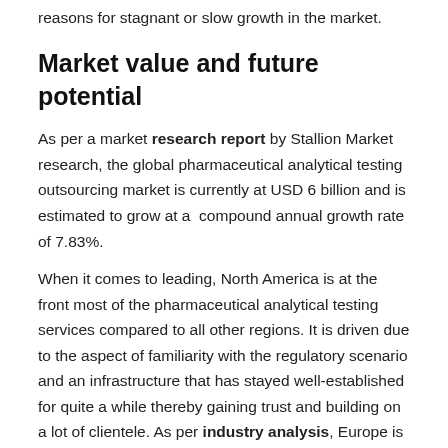reasons for stagnant or slow growth in the market.
Market value and future potential
As per a market research report by Stallion Market research, the global pharmaceutical analytical testing outsourcing market is currently at USD 6 billion and is estimated to grow at a compound annual growth rate of 7.83%.
When it comes to leading, North America is at the front most of the pharmaceutical analytical testing services compared to all other regions. It is driven due to the aspect of familiarity with the regulatory scenario and an infrastructure that has stayed well-established for quite a while thereby gaining trust and building on a lot of clientele. As per industry analysis, Europe is the next in